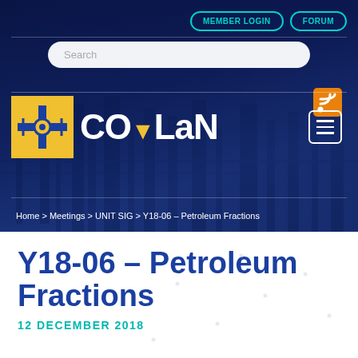[Figure (screenshot): CO-LaN website header with refinery industrial background, teal MEMBER LOGIN and FORUM buttons, search bar, RSS icon, CO-LaN logo with yellow icon, hamburger menu icon]
Home > Meetings > UNIT SIG > Y18-06 – Petroleum Fractions
Y18-06 – Petroleum Fractions
12 DECEMBER 2018